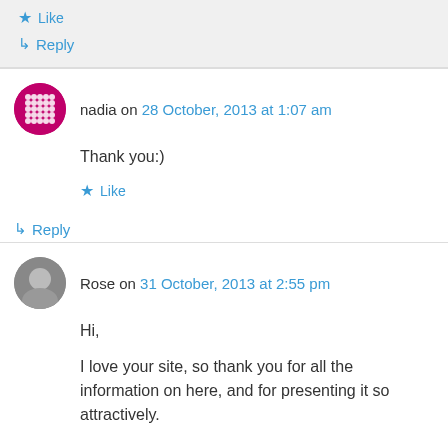Like
Reply
nadia on 28 October, 2013 at 1:07 am
Thank you:)
Like
Reply
Rose on 31 October, 2013 at 2:55 pm
Hi,
I love your site, so thank you for all the information on here, and for presenting it so attractively.